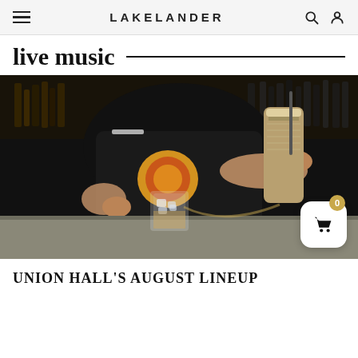LAKELANDER
live music
[Figure (photo): A bartender pouring a cocktail shaker into a glass of ice on a bar counter, set against a dark background with bottles of liquor on shelves.]
UNION HALL'S AUGUST LINEUP